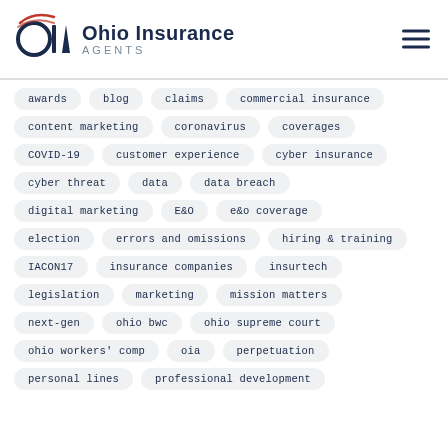[Figure (logo): Ohio Insurance Agents (OIA) logo with circular swoosh graphic in navy and red, brand name in navy bold text, AGENTS in gray spaced caps]
awards
blog
claims
commercial insurance
content marketing
coronavirus
coverages
COVID-19
customer experience
cyber insurance
cyber threat
data
data breach
digital marketing
E&O
e&o coverage
election
errors and omissions
hiring & training
IACON17
insurance companies
insurtech
legislation
marketing
mission matters
next-gen
ohio bwc
ohio supreme court
ohio workers' comp
oia
perpetuation
personal lines
professional development